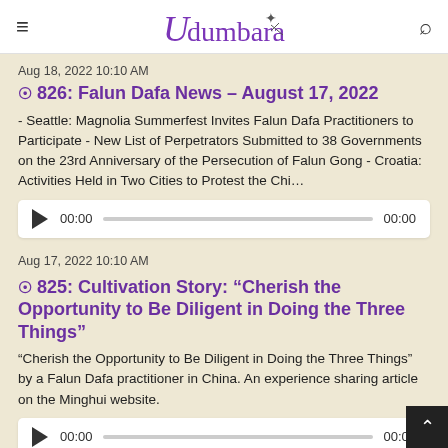Udumbara
Aug 18, 2022 10:10 AM
826: Falun Dafa News – August 17, 2022
- Seattle: Magnolia Summerfest Invites Falun Dafa Practitioners to Participate - New List of Perpetrators Submitted to 38 Governments on the 23rd Anniversary of the Persecution of Falun Gong - Croatia: Activities Held in Two Cities to Protest the Chi…
[Figure (other): Audio player with play button, time display 00:00 and 00:00, and progress bar]
Aug 17, 2022 10:10 AM
825: Cultivation Story: "Cherish the Opportunity to Be Diligent in Doing the Three Things"
"Cherish the Opportunity to Be Diligent in Doing the Three Things" by a Falun Dafa practitioner in China. An experience sharing article on the Minghui website.
[Figure (other): Audio player with play button, time display 00:00 and 00:00, and progress bar]